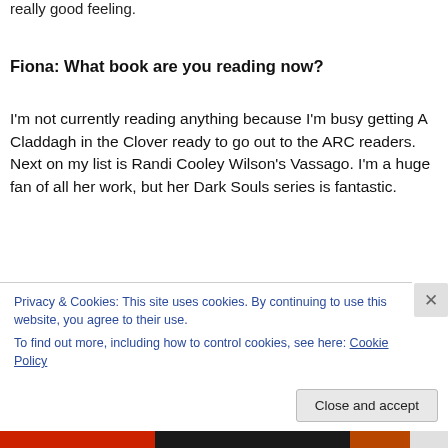really good feeling.
Fiona: What book are you reading now?
I'm not currently reading anything because I'm busy getting A Claddagh in the Clover ready to go out to the ARC readers. Next on my list is Randi Cooley Wilson's Vassago. I'm a huge fan of all her work, but her Dark Souls series is fantastic.
Privacy & Cookies: This site uses cookies. By continuing to use this website, you agree to their use.
To find out more, including how to control cookies, see here: Cookie Policy
Close and accept